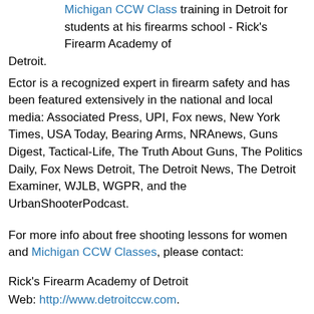Michigan CCW Class training in Detroit for students at his firearms school - Rick's Firearm Academy of Detroit.
Ector is a recognized expert in firearm safety and has been featured extensively in the national and local media: Associated Press, UPI, Fox news, New York Times, USA Today, Bearing Arms, NRAnews, Guns Digest, Tactical-Life, The Truth About Guns, The Politics Daily, Fox News Detroit, The Detroit News, The Detroit Examiner, WJLB, WGPR, and the UrbanShooterPodcast.
For more info about free shooting lessons for women and Michigan CCW Classes, please contact:
Rick's Firearm Academy of Detroit
Web: http://www.detroitccw.com.
Email: detroitccw@gmail.com
Phone: 313.733.7404
If this information was useful for you, would you please make a small recurring donation to support this site?